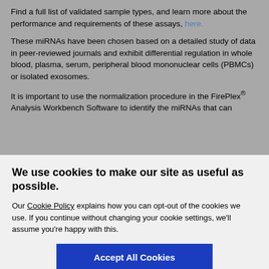Find a full list of validated sample types, and learn more about the performance and requirements of these assays, here.
These miRNAs have been chosen based on a detailed study of data in peer-reviewed journals and exhibit differential regulation in whole blood, plasma, serum, peripheral blood mononuclear cells (PBMCs) or isolated exosomes.
It is important to use the normalization procedure in the FirePlex® Analysis Workbench Software to identify the miRNAs that can
We use cookies to make our site as useful as possible.
Our Cookie Policy explains how you can opt-out of the cookies we use. If you continue without changing your cookie settings, we'll assume you're happy with this.
Accept All Cookies